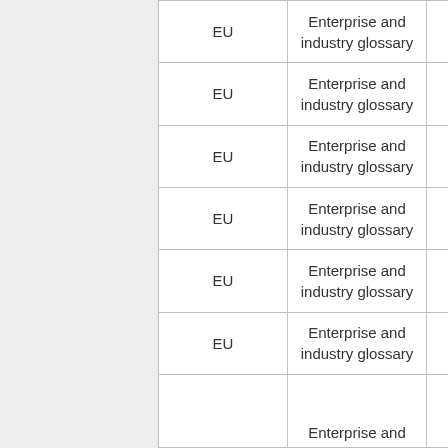|  | EU | Enterprise and industry glossary | W... |
| --- | --- | --- | --- |
|  | EU | Enterprise and industry glossary | W... EN... |
|  | EU | Enterprise and industry glossary | W... NL... |
|  | EU | Enterprise and industry glossary | W... IT... |
|  | EU | Enterprise and industry glossary | W... GR... |
|  | EU | Enterprise and industry glossary | W... PL... |
|  | EU | Enterprise and industry glossary | W... DE... |
|  |  | Enterprise and | W... |